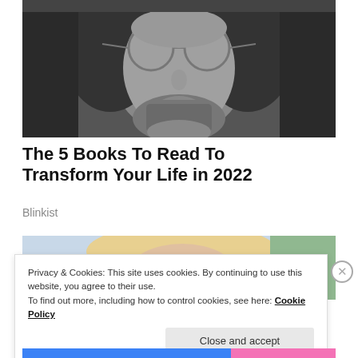[Figure (photo): Black and white close-up photo of a man with round glasses and a beard, long dark hair]
The 5 Books To Read To Transform Your Life in 2022
Blinkist
[Figure (photo): Partial photo of a woman with blonde hair, partially obscured by cookie banner]
Privacy & Cookies: This site uses cookies. By continuing to use this website, you agree to their use.
To find out more, including how to control cookies, see here: Cookie Policy
Close and accept